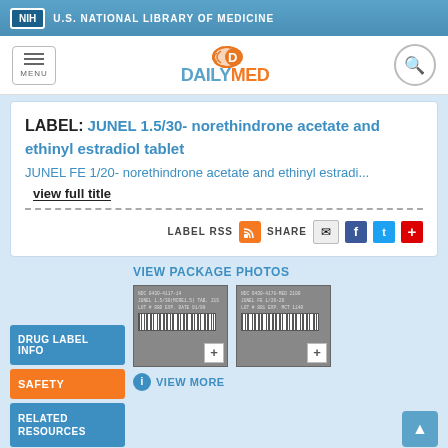NIH U.S. NATIONAL LIBRARY OF MEDICINE
[Figure (logo): DailyMed logo with orange pill icon and orange/blue text]
LABEL: JUNEL 1.5/30- norethindrone acetate and ethinyl estradiol tablet
JUNEL FE 1/20- norethindrone acetate and ethinyl estradi...
view full title
LABEL RSS | SHARE
DRUG LABEL INFO
SAFETY
RELATED RESOURCES
VIEW PACKAGE PHOTOS
[Figure (photo): Package photo thumbnail 1 - drug label barcode]
[Figure (photo): Package photo thumbnail 2 - drug label barcode]
VIEW MORE